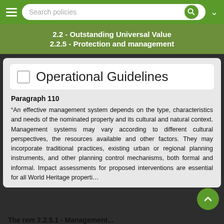Search policies
2.2 - Outstanding Universal Value
2.2.5 - Protection and management
Operational Guidelines
Paragraph 110
“An effective management system depends on the type, characteristics and needs of the nominated property and its cultural and natural context. Management systems may vary according to different cultural perspectives, the resources available and other factors. They may incorporate traditional practices, existing urban or regional planning instruments, and other planning control mechanisms, both formal and informal. Impact assessments for proposed interventions are essential for all World Heritage properti…
The rem 2.2.5.1 - Management...